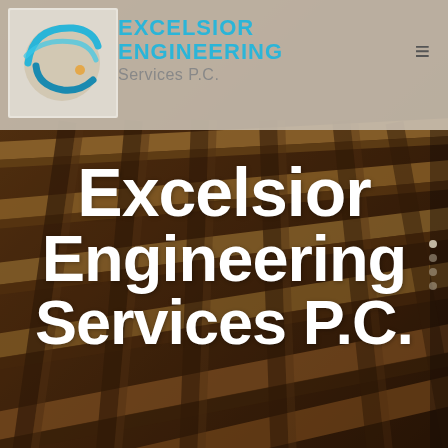[Figure (photo): Background photo of steel structural beams and framework, warm sepia/brown tone with dramatic overhead perspective]
[Figure (logo): Excelsior Engineering Services P.C. logo with stylized blue swoosh/wave icon and blue text on light background]
Excelsior Engineering Services P.C.